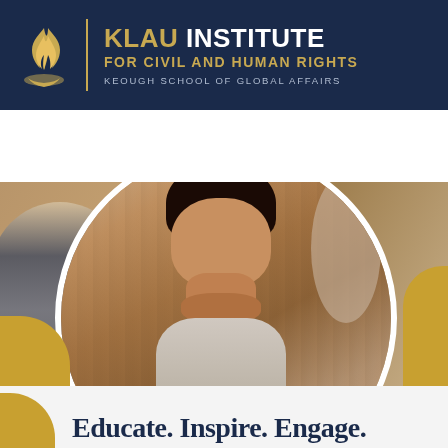KLAU INSTITUTE FOR CIVIL AND HUMAN RIGHTS — KEOUGH SCHOOL OF GLOBAL AFFAIRS
[Figure (screenshot): Navigation bar with HOME, CONTACT, SEARCH, MENU icons]
[Figure (photo): A student attentively listening in a classroom, with other students blurred in the foreground and background, framed in a circle against a gold background]
Educate. Inspire. Engage.